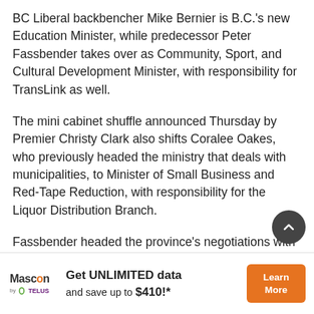BC Liberal backbencher Mike Bernier is B.C.'s new Education Minister, while predecessor Peter Fassbender takes over as Community, Sport, and Cultural Development Minister, with responsibility for TransLink as well.
The mini cabinet shuffle announced Thursday by Premier Christy Clark also shifts Coralee Oakes, who previously headed the ministry that deals with municipalities, to Minister of Small Business and Red-Tape Reduction, with responsibility for the Liquor Distribution Branch.
Fassbender headed the province's negotiations with B.C. teachers during last year's strike. He held out for a negotiated settlement the province achieved rather than [legislation to end the dispute, as had been the...]
[Figure (infographic): Mascon by TELUS advertisement banner: 'Get UNLIMITED data and save up to $410!*' with a Learn More button]